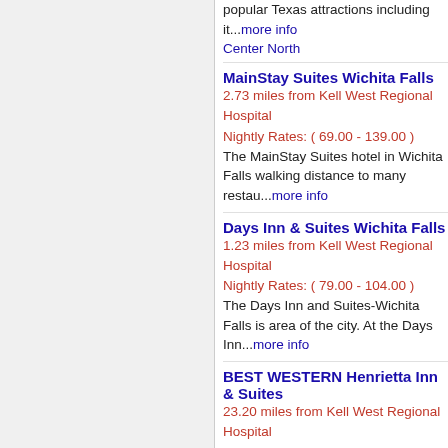popular Texas attractions including it...more info Center North
MainStay Suites Wichita Falls
2.73 miles from Kell West Regional Hospital
Nightly Rates: ( 69.00 - 139.00 )
The MainStay Suites hotel in Wichita Falls walking distance to many restau...more info
Days Inn & Suites Wichita Falls
1.23 miles from Kell West Regional Hospital
Nightly Rates: ( 79.00 - 104.00 )
The Days Inn and Suites-Wichita Falls is area of the city. At the Days Inn...more info
BEST WESTERN Henrietta Inn & Suites
23.20 miles from Kell West Regional Hospital
Nightly Rates: ( 85.99 - 99.99 )
Guests at our Henrietta hotel are here for visiting Midwestern State Universit...more Suites
Baymont Inn & Suites Wichita Falls
1.21 miles from Kell West Regional Hospital
Nightly Rates: ( 89.00 - 132.00 )
You will feel right at home at this Baymont Interstate 44, close to Wichita...more info